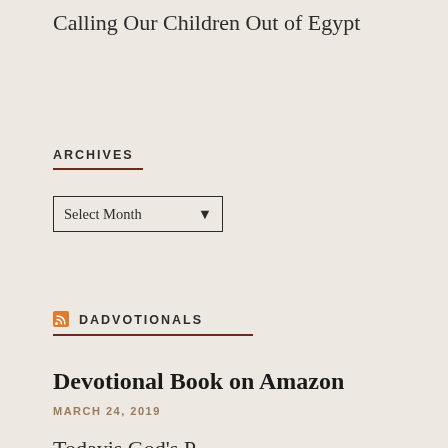Calling Our Children Out of Egypt
ARCHIVES
Select Month
RSS DADVOTIONALS
Devotional Book on Amazon
MARCH 24, 2019
Todayis God's P...